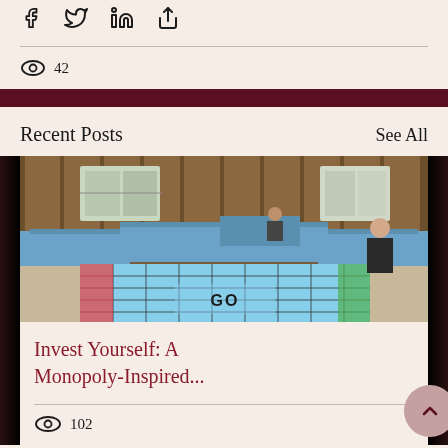[Figure (infographic): Social media share icons: Facebook, Twitter, LinkedIn, and a link/share icon in a row]
42
Recent Posts
See All
[Figure (photo): Indoor photo of a large life-size Monopoly board game set up on the floor with blue tablecloth-covered tables arranged in a square. The center shows a 'GO' square. People are visible in the background in a wood-paneled room.]
Invest Yourself: A Monopoly-Inspired...
102